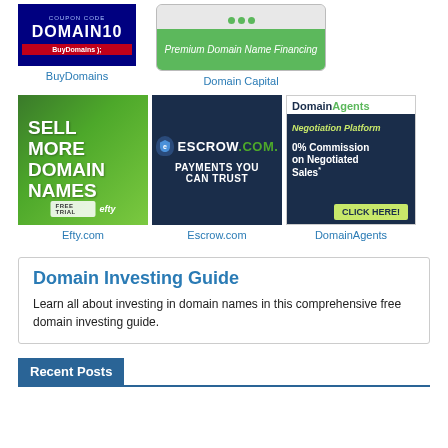[Figure (illustration): BuyDomains advertisement banner with coupon code DOMAIN10]
BuyDomains
[Figure (illustration): Domain Capital advertisement banner - Premium Domain Name Financing]
Domain Capital
[Figure (illustration): Efty.com advertisement - Sell More Domain Names, Free Trial]
Efty.com
[Figure (illustration): Escrow.com advertisement - Payments You Can Trust]
Escrow.com
[Figure (illustration): DomainAgents Negotiation Platform - 0% Commission on Negotiated Sales - Click Here]
DomainAgents
Domain Investing Guide
Learn all about investing in domain names in this comprehensive free domain investing guide.
Recent Posts